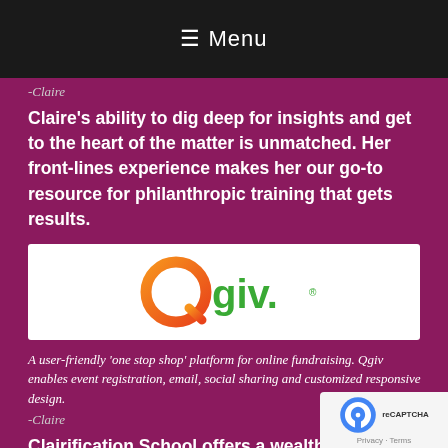☰ Menu
-Claire
Claire's ability to dig deep for insights and get to the heart of the matter is unmatched. Her front-lines experience makes her our go-to resource for philanthropic training that gets results.
[Figure (logo): Qgiv logo — orange circle Q mark with green 'giv.' text on white background]
A user-friendly 'one stop shop' platform for online fundraising. Qgiv enables event registration, email, social sharing and customized responsive design.
-Claire
Clairification School offers a wealth of information and knowledge; Claire communicates so clearly and simply that even brand-new concepts are easy to